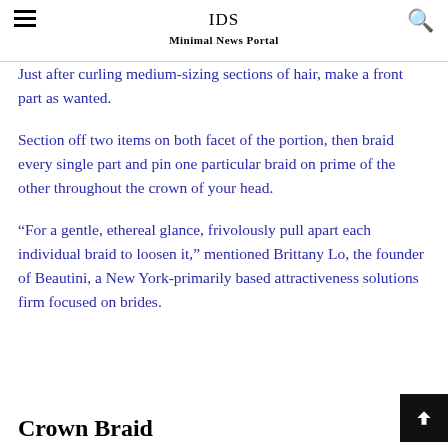IDS
Minimal News Portal
Just after curling medium-sizing sections of hair, make a front part as wanted.
Section off two items on both facet of the portion, then braid every single part and pin one particular braid on prime of the other throughout the crown of your head.
“For a gentle, ethereal glance, frivolously pull apart each individual braid to loosen it,” mentioned Brittany Lo, the founder of Beautini, a New York-primarily based attractiveness solutions firm focused on brides.
Crown Braid